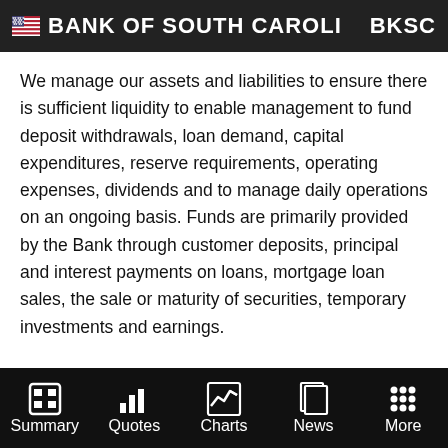🇺🇸 BANK OF SOUTH CAROLI   BKSC
We manage our assets and liabilities to ensure there is sufficient liquidity to enable management to fund deposit withdrawals, loan demand, capital expenditures, reserve requirements, operating expenses, dividends and to manage daily operations on an ongoing basis. Funds are primarily provided by the Bank through customer deposits, principal and interest payments on loans, mortgage loan sales, the sale or maturity of securities, temporary investments and earnings.
Summary   Quotes   Charts   News   More